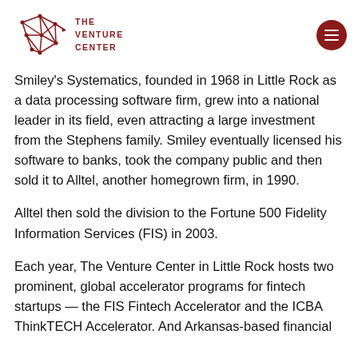[Figure (logo): The Venture Center logo: geometric network/star graphic in dark red with text 'THE VENTURE CENTER' in red capital letters]
Smiley's Systematics, founded in 1968 in Little Rock as a data processing software firm, grew into a national leader in its field, even attracting a large investment from the Stephens family. Smiley eventually licensed his software to banks, took the company public and then sold it to Alltel, another homegrown firm, in 1990.
Alltel then sold the division to the Fortune 500 Fidelity Information Services (FIS) in 2003.
Each year, The Venture Center in Little Rock hosts two prominent, global accelerator programs for fintech startups — the FIS Fintech Accelerator and the ICBA ThinkTECH Accelerator. And Arkansas-based financial